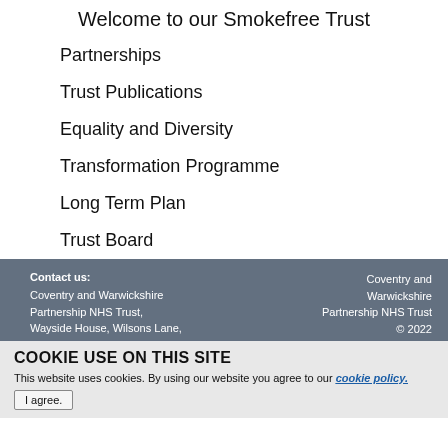Welcome to our Smokefree Trust
Partnerships
Trust Publications
Equality and Diversity
Transformation Programme
Long Term Plan
Trust Board
Contact us:
Coventry and Warwickshire Partnership NHS Trust, Wayside House, Wilsons Lane,

Coventry and Warwickshire Partnership NHS Trust © 2022
COOKIE USE ON THIS SITE
This website uses cookies. By using our website you agree to our cookie policy.
I agree.